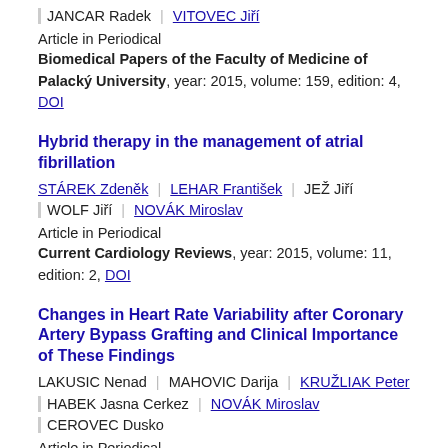JANCAR Radek | VITOVEC Jiří
Article in Periodical
Biomedical Papers of the Faculty of Medicine of Palacký University, year: 2015, volume: 159, edition: 4, DOI
Hybrid therapy in the management of atrial fibrillation
STÁREK Zdeněk | LEHAR František | JEŽ Jiří | WOLF Jiří | NOVÁK Miroslav
Article in Periodical
Current Cardiology Reviews, year: 2015, volume: 11, edition: 2, DOI
Changes in Heart Rate Variability after Coronary Artery Bypass Grafting and Clinical Importance of These Findings
LAKUSIC Nenad | MAHOVIC Darija | KRUŽLIAK Peter | HABEK Jasna Cerkez | NOVÁK Miroslav | CEROVEC Dusko
Article in Periodical
Biomed Research International, year: 2015, volume: